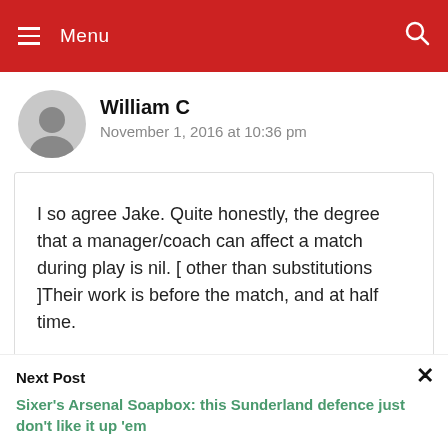Menu
William C
November 1, 2016 at 10:36 pm
I so agree Jake. Quite honestly, the degree that a manager/coach can affect a match during play is nil. [ other than substitutions ]Their work is before the match, and at half time.
Next Post
Sixer's Arsenal Soapbox: this Sunderland defence just don't like it up 'em